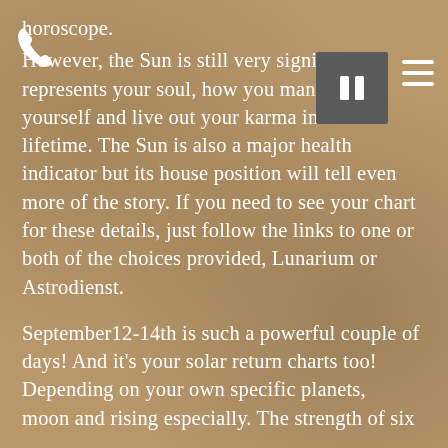horoscope. However, the Sun is still very significant represents your soul, how you manifest yourself and live out your karma in this lifetime. The Sun is also a major health indicator but its house position will tell even more of the story. If you need to see your chart for these details, just follow the links to one or both of the choices provided, Lunarium or Astrodienst.
September12-14th is such a powerful couple of days! And it's your solar return charts too! Depending on your own specific planets, moon and rising especially. The strength of six